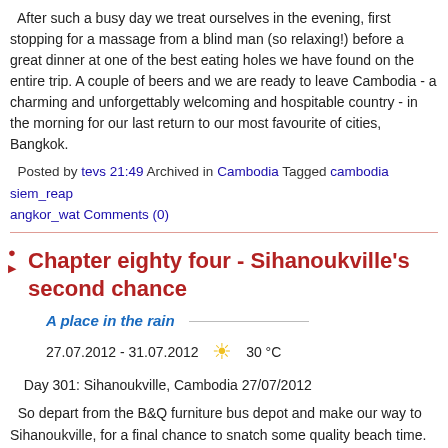After such a busy day we treat ourselves in the evening, first stopping for a massage from a blind man (so relaxing!) before a great dinner at one of the best eating holes we have found on the entire trip. A couple of beers and we are ready to leave Cambodia - a charming and unforgettably welcoming and hospitable country - in the morning for our last return to our most favourite of cities, Bangkok.
Posted by tevs 21:49 Archived in Cambodia Tagged cambodia siem_reap angkor_wat Comments (0)
Chapter eighty four - Sihanoukville's second chance
A place in the rain
27.07.2012 - 31.07.2012   30 °C
Day 301: Sihanoukville, Cambodia 27/07/2012
So depart from the B&Q furniture bus depot and make our way to Sihanoukville, for a final chance to snatch some quality beach time. The not uncomfortable minibus takes far more than the promised four hours (and nearly run a dog over in the process) and I run into somebody else